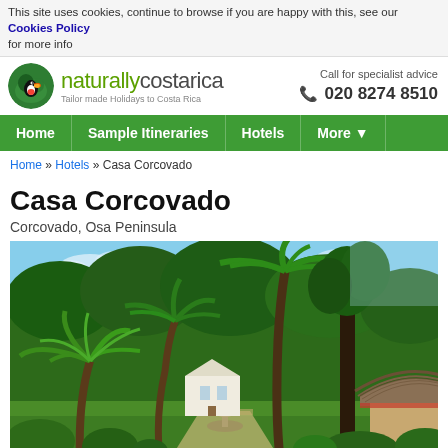This site uses cookies, continue to browse if you are happy with this, see our Cookies Policy for more info
[Figure (logo): Naturally Costa Rica logo with toucan bird icon and tagline 'Tailor made Holidays to Costa Rica']
Call for specialist advice 020 8274 8510
Home | Sample Itineraries | Hotels | More
Home » Hotels » Casa Corcovado
Casa Corcovado
Corcovado, Osa Peninsula
[Figure (photo): Tropical jungle resort landscape with palm trees, lush green vegetation, a thatched roof bungalow on the right, white building in the background, and a stone fountain, under blue sky]